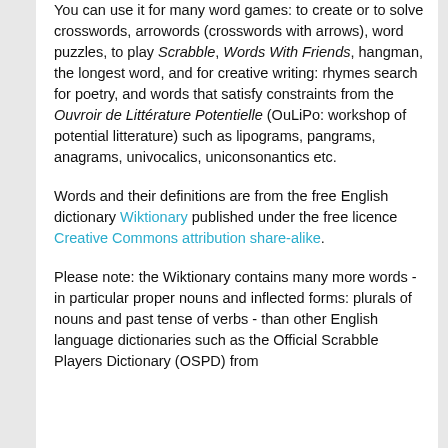You can use it for many word games: to create or to solve crosswords, arrowords (crosswords with arrows), word puzzles, to play Scrabble, Words With Friends, hangman, the longest word, and for creative writing: rhymes search for poetry, and words that satisfy constraints from the Ouvroir de Littérature Potentielle (OuLiPo: workshop of potential litterature) such as lipograms, pangrams, anagrams, univocalics, uniconsonantics etc.
Words and their definitions are from the free English dictionary Wiktionary published under the free licence Creative Commons attribution share-alike.
Please note: the Wiktionary contains many more words - in particular proper nouns and inflected forms: plurals of nouns and past tense of verbs - than other English language dictionaries such as the Official Scrabble Players Dictionary (OSPD) from